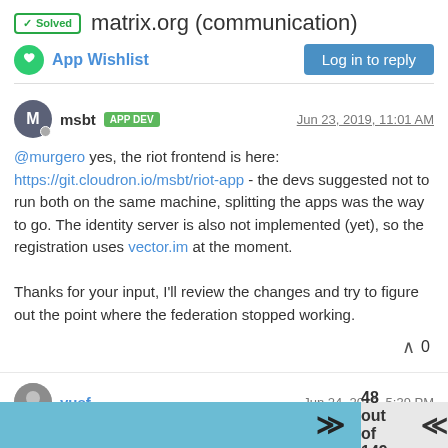✓ Solved  matrix.org (communication)
App Wishlist
Log in to reply
msbt  APP DEV  Jun 23, 2019, 11:01 AM
@murgero yes, the riot frontend is here: https://git.cloudron.io/msbt/riot-app - the devs suggested not to run both on the same machine, splitting the apps was the way to go. The identity server is also not implemented (yet), so the registration uses vector.im at the moment.

Thanks for your input, I'll review the changes and try to figure out the point where the federation stopped working.
0
yusf  Jun 24, 2019, 5:39 PM
48 out of 149